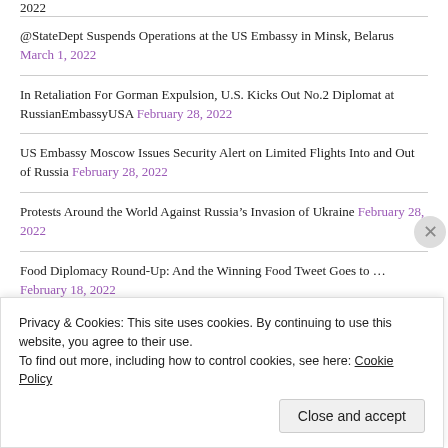@StateDept Suspends Operations at the US Embassy in Minsk, Belarus March 1, 2022
In Retaliation For Gorman Expulsion, U.S. Kicks Out No.2 Diplomat at RussianEmbassyUSA February 28, 2022
US Embassy Moscow Issues Security Alert on Limited Flights Into and Out of Russia February 28, 2022
Protests Around the World Against Russia’s Invasion of Ukraine February 28, 2022
Food Diplomacy Round-Up: And the Winning Food Tweet Goes to … February 18, 2022
Advertisements
[Figure (other): Purple advertisement banner placeholder]
Privacy & Cookies: This site uses cookies. By continuing to use this website, you agree to their use. To find out more, including how to control cookies, see here: Cookie Policy
Close and accept